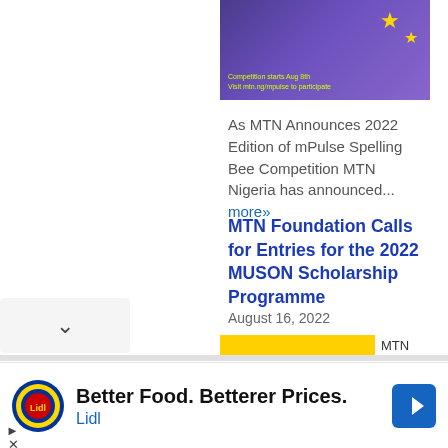[Figure (photo): Promotional image with purple background, person's head partially visible, yellow stars, text overlay reading 'Competition starts Aug 8th' and 'Visit mtn.ng/mpulse to participate']
As MTN Announces 2022 Edition of mPulse Spelling Bee Competition MTN Nigeria has announced... more»
MTN Foundation Calls for Entries for the 2022 MUSON Scholarship Programme
August 16, 2022
[Figure (other): Yellow MTN brand bar]
[Figure (logo): Lidl logo — blue and red circular logo with yellow ring]
Better Food. Betterer Prices. Lidl